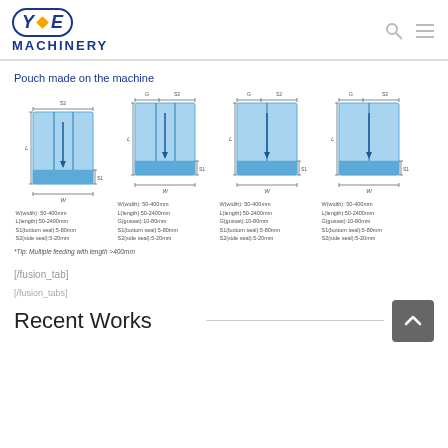[Figure (logo): YE Machinery logo with blue rounded rectangle border, stylized Y diamond E, and MACHINERY text below]
Pouch made on the machine
[Figure (engineering-diagram): Four pouch diagrams showing different pouch types with dimensions W, L, S1, S2, G labeled. Pouches are rectangular with blue fill and dimensional arrows.]
W(width): 50-400mm
L(length):50-2400mm
S1(bottom seal):5-80mm
S2(side seal):5-20mm
W(width): 50-400mm
L(length):50-2400mm
G(gusset):10-80mm
S1(bottom seal):5-80mm
S2(side seal):5-20mm
W(width): 50-400mm
L(length):50-2400mm
G(gusset):10-80mm
S1(bottom seal):5-80mm
S2(side seal):5-20mm
W(width): 50-400mm
L(length):50-2400mm
G(gusset):10-80mm
S1(bottom seal):5-80mm
S2(side seal):5-20mm
*Tip: Multiple feeding with length >400mm
[/fusion_tab]
[/fusion_tabs]
Recent Works